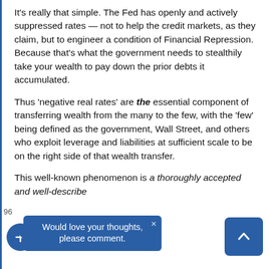It's really that simple. The Fed has openly and actively suppressed rates — not to help the credit markets, as they claim, but to engineer a condition of Financial Repression. Because that's what the government needs to stealthily take your wealth to pay down the prior debts it accumulated.
Thus 'negative real rates' are the essential component of transferring wealth from the many to the few, with the 'few' being defined as the government, Wall Street, and others who exploit leverage and liabilities at sufficient scale to be on the right side of that wealth transfer.
This well-known phenomenon is a thoroughly accepted and well-described... [partially visible] ...courtesy of the BIS in this working paper published...
96